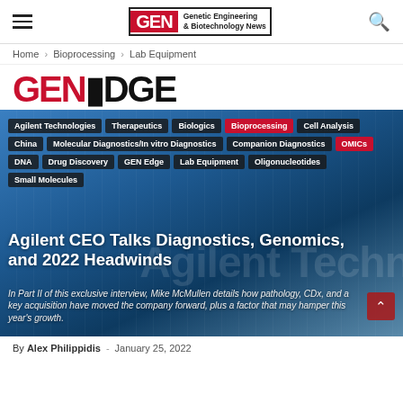GEN - Genetic Engineering & Biotechnology News
Home › Bioprocessing › Lab Equipment
GENEDGE
[Figure (photo): Agilent Technologies building/signage with blue sky background, overlaid with tag pills and article headline text]
Agilent CEO Talks Diagnostics, Genomics, and 2022 Headwinds
In Part II of this exclusive interview, Mike McMullen details how pathology, CDx, and a key acquisition have moved the company forward, plus a factor that may hamper this year's growth.
By Alex Philippidis · January 25, 2022